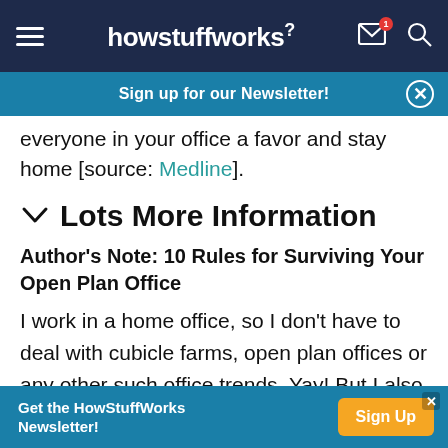howstuffworks
everyone in your office a favor and stay home [source: Medline].
Lots More Information
Author's Note: 10 Rules for Surviving Your Open Plan Office
I work in a home office, so I don't have to deal with cubicle farms, open plan offices or any other such office trends. Yay! But I also have no officemates, no
Get the HowStuffWorks Newsletter! Sign Up